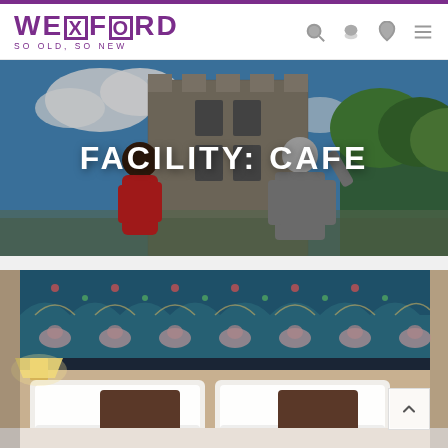WEXFORD SO OLD, SO NEW
[Figure (photo): Hero image of a woman in red jacket and a man in medieval chainmail armor standing in front of a stone castle tower under a blue sky. Large white bold text overlay reads 'FACILITY: CAFE']
FACILITY: CAFE
[Figure (photo): Hotel room interior showing a decorative patterned headboard with colorful Art Nouveau style fabric featuring elephants and floral motifs on a dark teal background. White pillows and bedding visible in foreground. Warm lamp lighting on left side.]